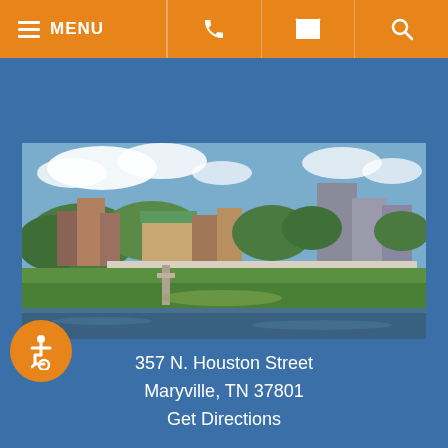MENU [phone] [email] [search]
[Figure (photo): Aerial/elevated view of Maryville, TN downtown area showing buildings, trees, a park with walkway/bridge, and a river or pond in the foreground under a partly cloudy sky.]
357 N. Houston Street
Maryville, TN 37801
Get Directions